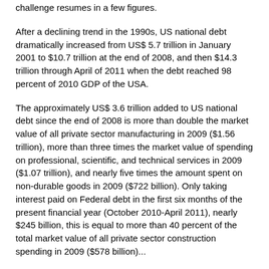challenge resumes in a few figures.
After a declining trend in the 1990s, US national debt dramatically increased from US$ 5.7 trillion in January 2001 to $10.7 trillion at the end of 2008, and then $14.3 trillion through April of 2011 when the debt reached 98 percent of 2010 GDP of the USA.
The approximately US$ 3.6 trillion added to US national debt since the end of 2008 is more than double the market value of all private sector manufacturing in 2009 ($1.56 trillion), more than three times the market value of spending on professional, scientific, and technical services in 2009 ($1.07 trillion), and nearly five times the amount spent on non-durable goods in 2009 ($722 billion). Only taking interest paid on Federal debt in the first six months of the present financial year (October 2010-April 2011), nearly $245 billion, this is equal to more than 40 percent of the total market value of all private sector construction spending in 2009 ($578 billion)...
Right through his tenure as IMF chief, Strauss-Kahn not only